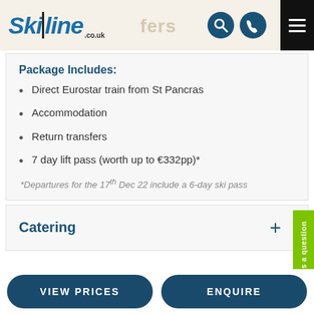Skiline.co.uk
Package Includes:
Direct Eurostar train from St Pancras
Accommodation
Return transfers
7 day lift pass (worth up to €332pp)*
*Departures for the 17th Dec 22 include a 6-day ski pass
Catering
VIEW PRICES
ENQUIRE